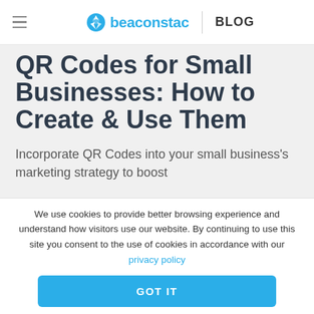beaconstac BLOG
QR Codes for Small Businesses: How to Create & Use Them
Incorporate QR Codes into your small business's marketing strategy to boost
We use cookies to provide better browsing experience and understand how visitors use our website. By continuing to use this site you consent to the use of cookies in accordance with our privacy policy
GOT IT